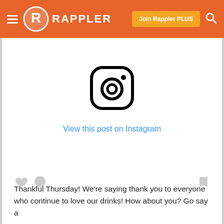Rappler — Join Rappler PLUS
[Figure (screenshot): Instagram embed placeholder showing Instagram camera icon and 'View this post on Instagram' link in blue]
Thankful Thursday! We're saying thank you to everyone who continue to love our drinks! How about you? Go say a